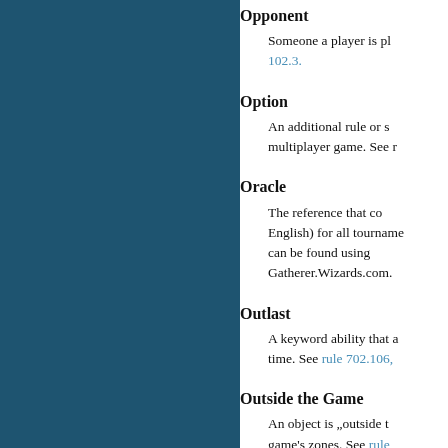Opponent
Someone a player is pl… 102.3.
Option
An additional rule or s… multiplayer game. See r…
Oracle
The reference that co… English) for all tourname… can be found using… Gatherer.Wizards.com.
Outlast
A keyword ability that a… time. See rule 702.106,
Outside the Game
An object is „outside t… game's zones. See rule…